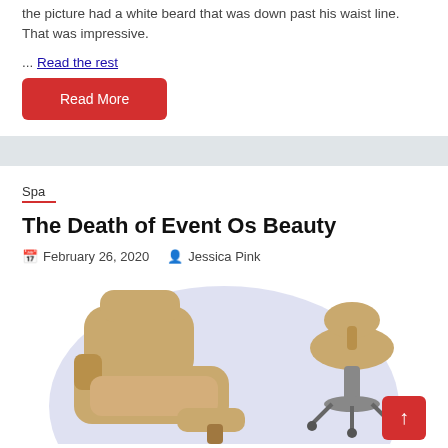the picture had a white beard that was down past his waist line. That was impressive.
... Read the rest
Read More
Spa
The Death of Event Os Beauty
February 26, 2020   Jessica Pink
[Figure (photo): Spa chairs — a beige leather recliner and a beige saddle stool on wheels, against a light purple circular backdrop]